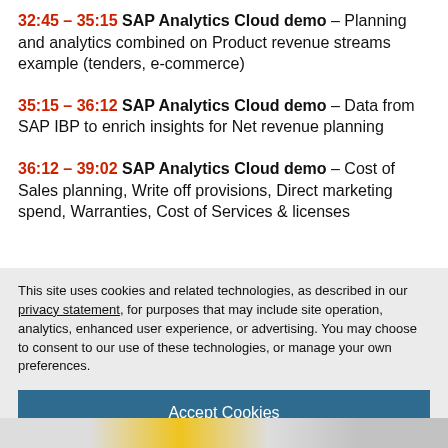32:45 – 35:15 SAP Analytics Cloud demo – Planning and analytics combined on Product revenue streams example (tenders, e-commerce)
35:15 – 36:12 SAP Analytics Cloud demo – Data from SAP IBP to enrich insights for Net revenue planning
36:12 – 39:02 SAP Analytics Cloud demo – Cost of Sales planning, Write off provisions, Direct marketing spend, Warranties, Cost of Services & licenses
This site uses cookies and related technologies, as described in our privacy statement, for purposes that may include site operation, analytics, enhanced user experience, or advertising. You may choose to consent to our use of these technologies, or manage your own preferences.
Accept Cookies
More Information
Privacy Policy | Powered by: TrustArc
[Figure (screenshot): Partial screenshot of a dashboard or presentation at the bottom of the page]